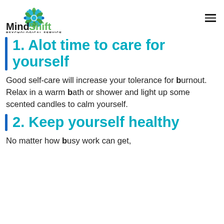[Figure (logo): MindShift Psychological Services logo with decorative mandala/leaf graphic above text]
1. Alot time to care for yourself
Good self-care will increase your tolerance for burnout. Relax in a warm bath or shower and light up some scented candles to calm yourself.
2. Keep yourself healthy
No matter how busy work can get,